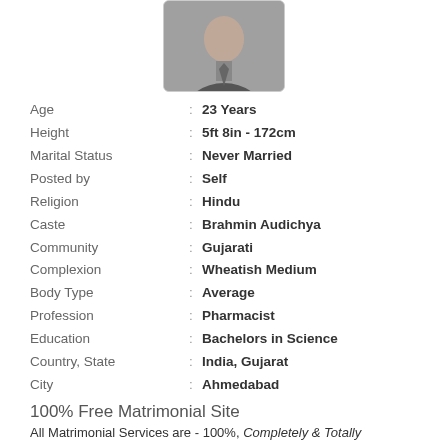[Figure (photo): Black and white portrait photo of a person in formal wear]
Age : 23 Years
Height : 5ft 8in - 172cm
Marital Status : Never Married
Posted by : Self
Religion : Hindu
Caste : Brahmin Audichya
Community : Gujarati
Complexion : Wheatish Medium
Body Type : Average
Profession : Pharmacist
Education : Bachelors in Science
Country, State : India, Gujarat
City : Ahmedabad
100% Free Matrimonial Site
All Matrimonial Services are - 100%, Completely & Totally